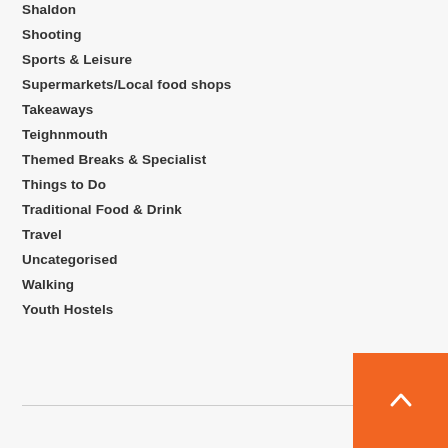Shaldon
Shooting
Sports & Leisure
Supermarkets/Local food shops
Takeaways
Teighnmouth
Themed Breaks & Specialist
Things to Do
Traditional Food & Drink
Travel
Uncategorised
Walking
Youth Hostels